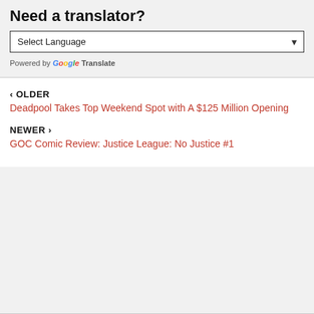Need a translator?
Select Language
Powered by Google Translate
‹ OLDER
Deadpool Takes Top Weekend Spot with A $125 Million Opening
NEWER ›
GOC Comic Review: Justice League: No Justice #1